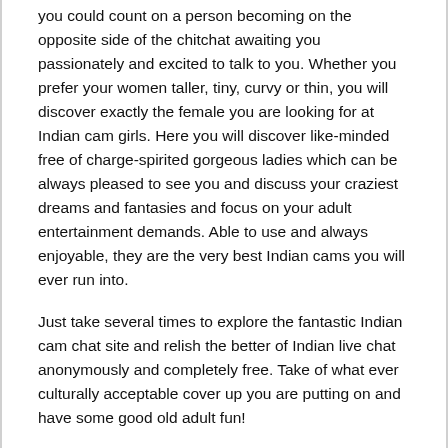you could count on a person becoming on the opposite side of the chitchat awaiting you passionately and excited to talk to you. Whether you prefer your women taller, tiny, curvy or thin, you will discover exactly the female you are looking for at Indian cam girls. Here you will discover like-minded free of charge-spirited gorgeous ladies which can be always pleased to see you and discuss your craziest dreams and fantasies and focus on your adult entertainment demands. Able to use and always enjoyable, they are the very best Indian cams you will ever run into.
Just take several times to explore the fantastic Indian cam chat site and relish the better of Indian live chat anonymously and completely free. Take of what ever culturally acceptable cover up you are putting on and have some good old adult fun!
To learn more about indian sex webcam you can check this useful web site. Site Link...